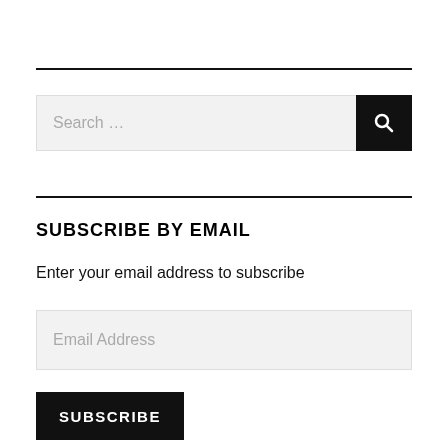SUBSCRIBE BY EMAIL
Enter your email address to subscribe